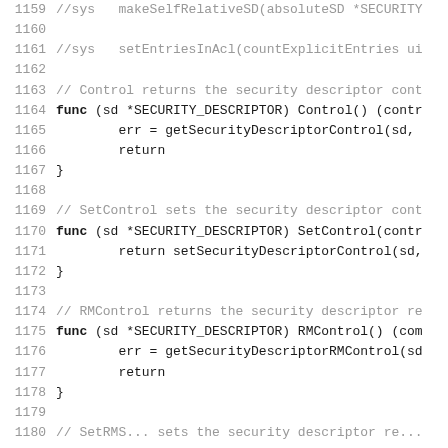[Figure (screenshot): Source code listing showing Go programming language functions for security descriptor control, with line numbers 1159-1180. Lines show //sys and // comments, func declarations, and function bodies.]